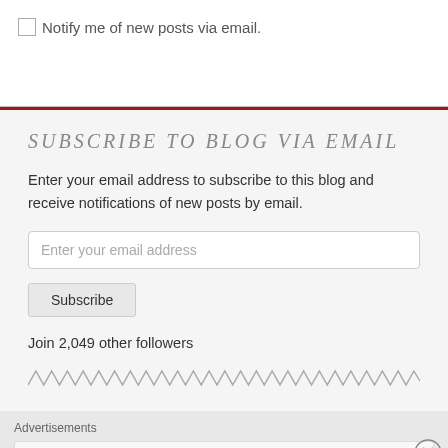Notify me of new posts via email.
SUBSCRIBE TO BLOG VIA EMAIL
Enter your email address to subscribe to this blog and receive notifications of new posts by email.
Enter your email address
Subscribe
Join 2,049 other followers
Advertisements
[Figure (logo): Automattic logo with tagline: Build a better web and a better world.]